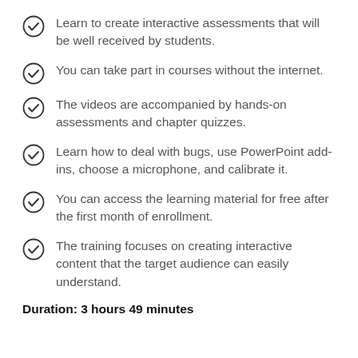Learn to create interactive assessments that will be well received by students.
You can take part in courses without the internet.
The videos are accompanied by hands-on assessments and chapter quizzes.
Learn how to deal with bugs, use PowerPoint add-ins, choose a microphone, and calibrate it.
You can access the learning material for free after the first month of enrollment.
The training focuses on creating interactive content that the target audience can easily understand.
Duration: 3 hours 49 minutes